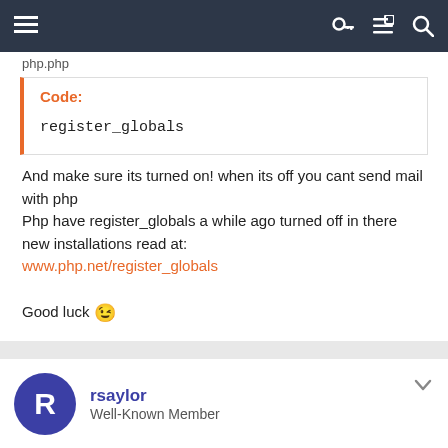Navigation bar with menu, key, list, and search icons
php.php
Code:
register_globals
And make sure its turned on! when its off you cant send mail with php
Php have register_globals a while ago turned off in there new installations read at:
www.php.net/register_globals

Good luck 😉
rsaylor
Well-Known Member
Sep 15, 2006
#5